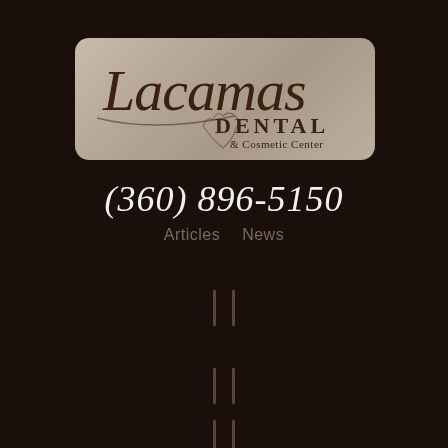[Figure (logo): Lacamas Dental & Cosmetic Center logo — script 'Lacamas' over serif 'DENTAL & Cosmetic Center' on a tan/beige rounded-rectangle background]
(360) 896-5150
Articles   News
[Figure (other): Small bracket/icon symbol]
[Figure (other): Small bracket/icon symbol]
[Figure (other): Small bracket/icon symbol]